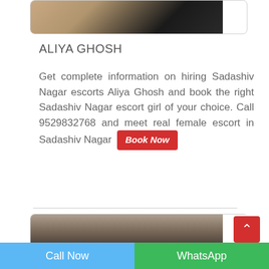[Figure (photo): Partial view of a woman's photo cropped at top of card]
ALIYA GHOSH
Get complete information on hiring Sadashiv Nagar escorts Aliya Ghosh and book the right Sadashiv Nagar escort girl of your choice. Call 9529832768 and meet real female escort in Sadashiv Nagar Book Now
[Figure (photo): Partial view of a woman with dark hair, bottom card photo]